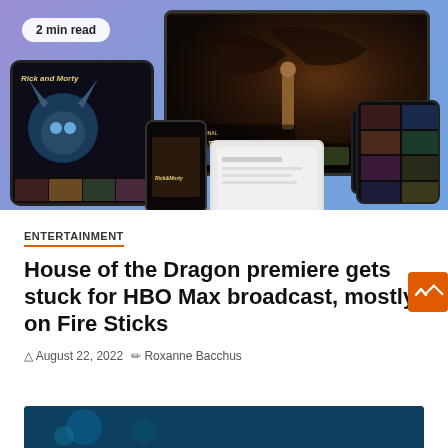[Figure (photo): HBO Max promotional image showing multiple devices (monitor, tablets, phones) displaying House of the Dragon and Rick and Morty content on a purple-blue gradient background. A '2 min read' badge is shown in the top left corner.]
ENTERTAINMENT
House of the Dragon premiere gets stuck for HBO Max broadcast, mostly on Fire Sticks
© August 22, 2022  ✎ Roxanne Bacchus
[Figure (photo): Bottom preview image showing a blue-toned scene, partially visible at the bottom of the page.]